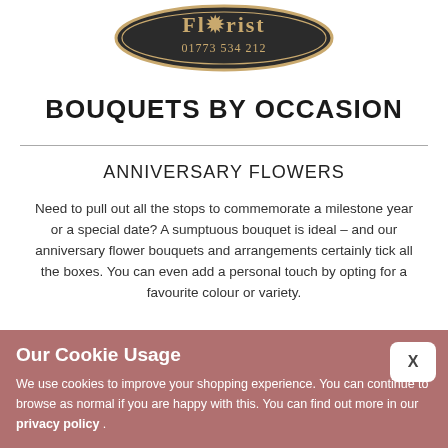[Figure (logo): Florist shop logo oval badge with flower motif and phone number 01773 534 212]
BOUQUETS BY OCCASION
ANNIVERSARY FLOWERS
Need to pull out all the stops to commemorate a milestone year or a special date? A sumptuous bouquet is ideal – and our anniversary flower bouquets and arrangements certainly tick all the boxes. You can even add a personal touch by opting for a favourite colour or variety.
Our Cookie Usage
We use cookies to improve your shopping experience. You can continue to browse as normal if you are happy with this. You can find out more in our privacy policy .